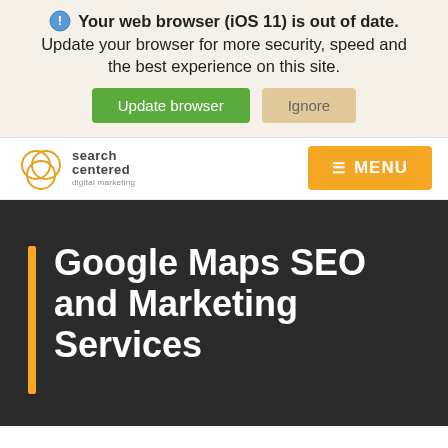Your web browser (iOS 11) is out of date. Update your browser for more security, speed and the best experience on this site.
Update browser
Ignore
[Figure (logo): Search Centered digital marketing logo with three overlapping circles]
≡ MENU
Google Maps SEO and Marketing Services